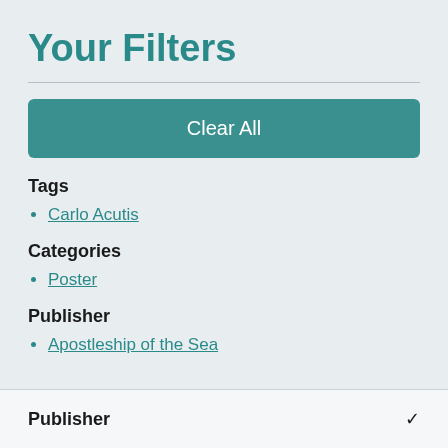Your Filters
Clear All
Tags
Carlo Acutis
Categories
Poster
Publisher
Apostleship of the Sea
Publisher